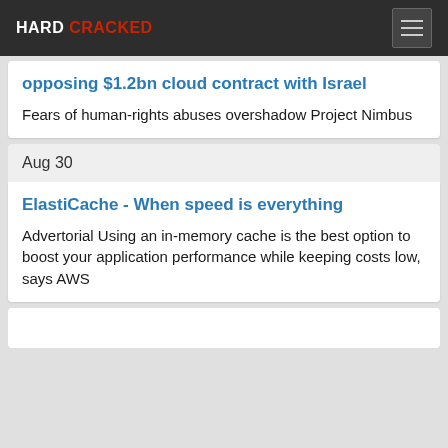HARD CRACKED
opposing $1.2bn cloud contract with Israel
Fears of human-rights abuses overshadow Project Nimbus
Aug 30
ElastiCache - When speed is everything
Advertorial Using an in-memory cache is the best option to boost your application performance while keeping costs low, says AWS